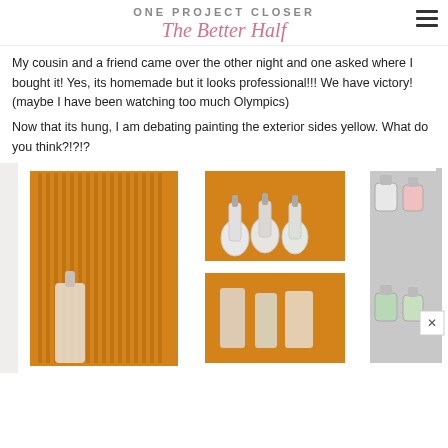ONE PROJECT CLOSER
The Better Half
My cousin and a friend came over the other night and one asked where I bought it! Yes, its homemade but it looks professional!!! We have victory! (maybe I have been watching too much Olympics)
Now that its hung, I am debating painting the exterior sides yellow. What do you think?!?!?
[Figure (photo): A white wall-mounted shelf unit with yellow interior panels, containing glass jars/bottles and containers on the shelves.]